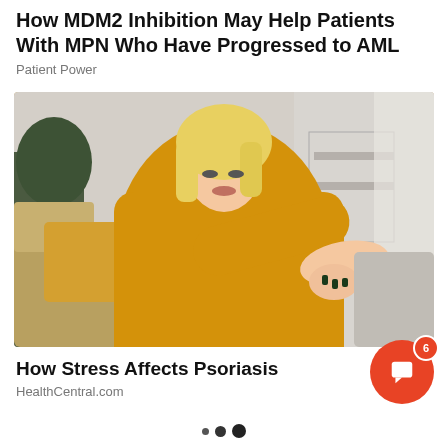How MDM2 Inhibition May Help Patients With MPN Who Have Progressed to AML
Patient Power
[Figure (photo): Blonde woman in yellow knit sweater seated on a couch, looking at her arm/elbow, appearing to examine a skin condition]
How Stress Affects Psoriasis
HealthCentral.com